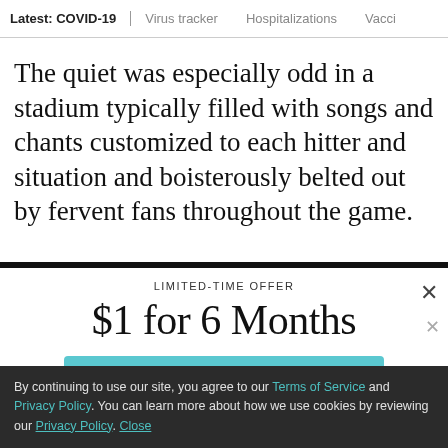Latest: COVID-19 | Virus tracker | Hospitalizations | Vacci
The quiet was especially odd in a stadium typically filled with songs and chants customized to each hitter and situation and boisterously belted out by fervent fans throughout the game.
LIMITED-TIME OFFER
$1 for 6 Months
SUBSCRIBE NOW
By continuing to use our site, you agree to our Terms of Service and Privacy Policy. You can learn more about how we use cookies by reviewing our Privacy Policy. Close